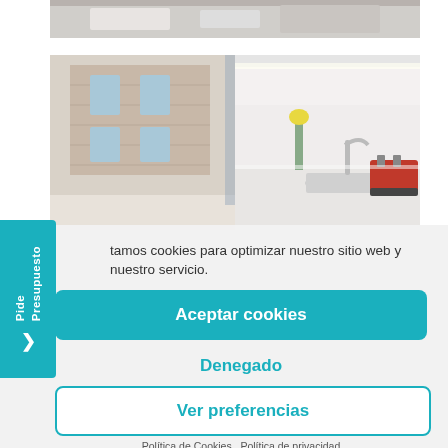[Figure (photo): Partial view of a room interior, top strip only visible]
[Figure (photo): Kitchen interior with large windows showing brick building outside, white countertop with sink, faucet, plants, and a red toaster on the right]
tamos cookies para optimizar nuestro sitio web y nuestro servicio.
Aceptar cookies
Denegado
Ver preferencias
Política de Cookies   Política de privacidad